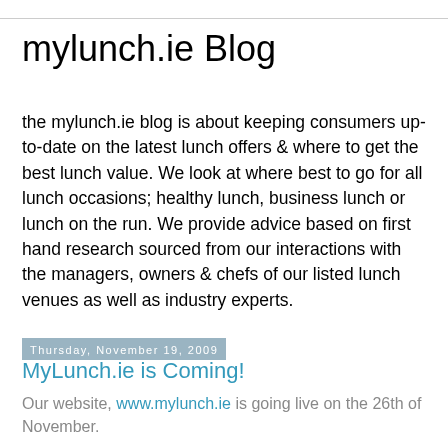mylunch.ie Blog
the mylunch.ie blog is about keeping consumers up-to-date on the latest lunch offers & where to get the best lunch value. We look at where best to go for all lunch occasions; healthy lunch, business lunch or lunch on the run. We provide advice based on first hand research sourced from our interactions with the managers, owners & chefs of our listed lunch venues as well as industry experts.
Thursday, November 19, 2009
MyLunch.ie is Coming!
Our website, www.mylunch.ie is going live on the 26th of November.